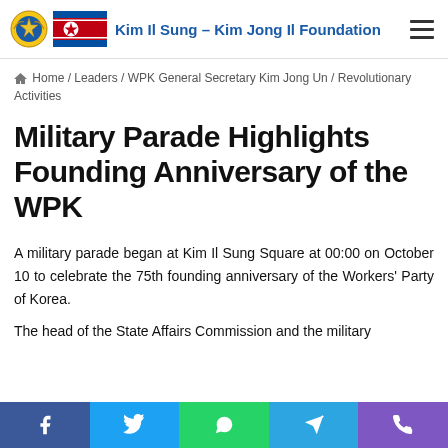Kim Il Sung – Kim Jong Il Foundation
Home / Leaders / WPK General Secretary Kim Jong Un / Revolutionary Activities
Military Parade Highlights Founding Anniversary of the WPK
A military parade began at Kim Il Sung Square at 00:00 on October 10 to celebrate the 75th founding anniversary of the Workers' Party of Korea.
The head of the State Affairs Commission and the military…
Facebook | Twitter | WhatsApp | Telegram | Phone